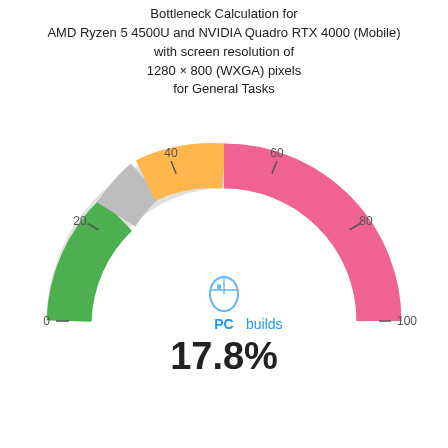Bottleneck Calculation for AMD Ryzen 5 4500U and NVIDIA Quadro RTX 4000 (Mobile) with screen resolution of 1280 × 800 (WXGA) pixels for General Tasks
[Figure (other): Semicircular gauge/donut chart showing bottleneck percentage. The gauge spans 0 to 100 with tick marks at 0, 20, 40, 60, 80, 100. The filled arc from 0 to ~17.8% is shown in green (small), then gray (small), then orange (large portion from ~20 to ~50), then pink/red (large portion from ~50 to 100). Center shows PC builds logo and 17.8% value.]